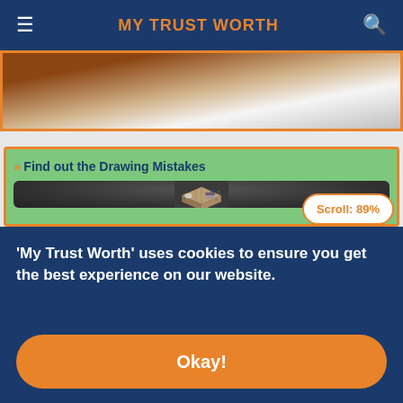MY TRUST WORTH
[Figure (photo): Partially visible image strip showing brown and light colored subject, cropped at top of page]
Find out the Drawing Mistakes
[Figure (illustration): Isometric 3D illustration of a floor plan / architectural model showing rooms with furniture including a bed, bathroom fixtures, and plants, viewed from above at an angle]
Scroll: 89%
'My Trust Worth' uses cookies to ensure you get the best experience on our website.
Okay!